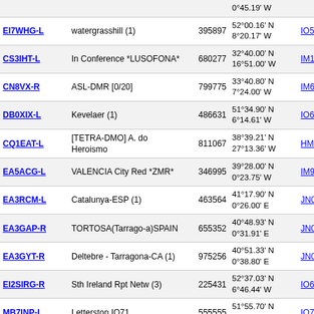| Callsign | Description | ID | Coordinates | Locator |
| --- | --- | --- | --- | --- |
|  |  |  | 0°45.19' W |  |
| EI7WHG-L | watergrasshill (1) | 395897 | 52°00.16' N 8°20.17' W | IO52b |
| CS3IHT-L | In Conference *LUSOFONA* | 680277 | 32°40.00' N 16°51.00' W | IM12b |
| CN8VX-R | ASL-DMR [0/20] | 799775 | 33°40.80' N 7°24.00' W | IM63b |
| DB0XIX-L | Kevelaer (1) | 486631 | 51°34.90' N 6°14.61' W | IO61v |
| CQ1EAT-L | [TETRA-DMO] A. do Heroismo | 811067 | 38°39.21' N 27°13.36' W | HM68 |
| EA5ACG-L | VALENCIA City Red *ZMR* | 346995 | 39°28.00' N 0°23.75' W | IM99b |
| EA3RCM-L | Catalunya-ESP (1) | 463564 | 41°17.90' N 0°26.00' E | JN01 |
| EA3GAP-R | TORTOSA(Tarrago-a)SPAIN | 655352 | 40°48.93' N 0°31.91' E | JN00 |
| EA3GYT-R | Deltebre - Tarragona-CA (1) | 975256 | 40°51.33' N 0°38.80' E | JN00 |
| EI2SIRG-R | Sth Ireland Rpt Netw (3) | 225431 | 52°37.03' N 6°46.44' W | IO62c |
| MB7INP-L | Letterston IO71 | 555555 | 51°55.70' N 5°00.16' W | IO71b |
| ED3ZAR-L | Catalonia-EU (1) | 768285 | 41°09.28' N 1°06.51' E | JN01 |
| F1ZJY-L | [Svx](F8KHC)- ACCES RLF (1) | 287141 | 45°26.25' N 1°34.00' E | JN05 |